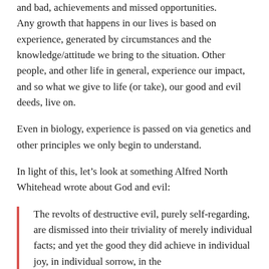and bad, achievements and missed opportunities.
Any growth that happens in our lives is based on experience, generated by circumstances and the knowledge/attitude we bring to the situation. Other people, and other life in general, experience our impact, and so what we give to life (or take), our good and evil deeds, live on.
Even in biology, experience is passed on via genetics and other principles we only begin to understand.
In light of this, let’s look at something Alfred North Whitehead wrote about God and evil:
The revolts of destructive evil, purely self-regarding, are dismissed into their triviality of merely individual facts; and yet the good they did achieve in individual joy, in individual sorrow, in the